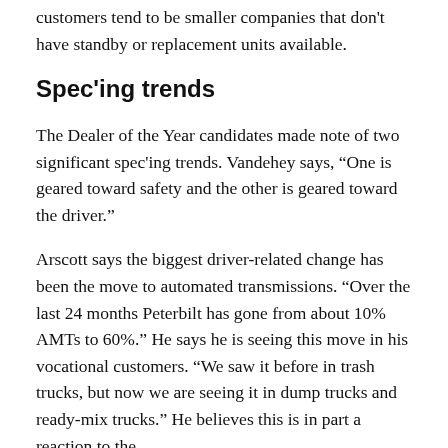customers tend to be smaller companies that don't have standby or replacement units available.
Spec'ing trends
The Dealer of the Year candidates made note of two significant spec'ing trends. Vandehey says, “One is geared toward safety and the other is geared toward the driver.”
Arscott says the biggest driver-related change has been the move to automated transmissions. “Over the last 24 months Peterbilt has gone from about 10% AMTs to 60%.” He says he is seeing this move in his vocational customers. “We saw it before in trash trucks, but now we are seeing it in dump trucks and ready-mix trucks.” He believes this is in part a reaction to the